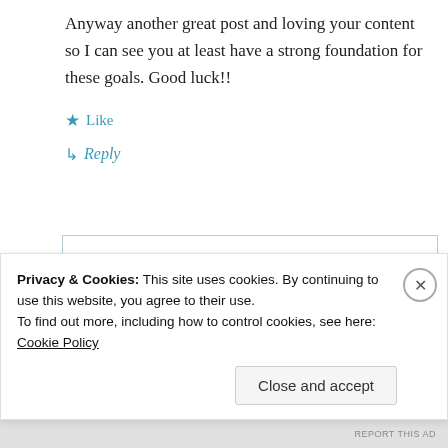Anyway another great post and loving your content so I can see you at least have a strong foundation for these goals. Good luck!!
Like
Reply
Minimal5
26. May 2019 at 20:47
Privacy & Cookies: This site uses cookies. By continuing to use this website, you agree to their use. To find out more, including how to control cookies, see here: Cookie Policy
Close and accept